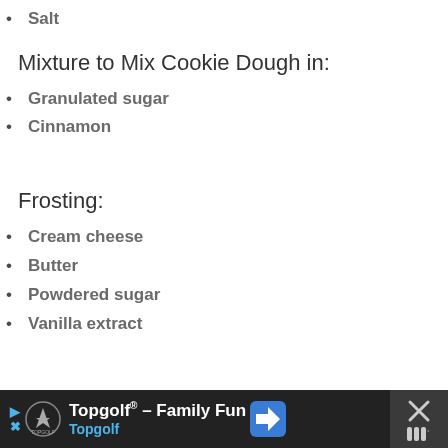Salt
Mixture to Mix Cookie Dough in:
Granulated sugar
Cinnamon
Frosting:
Cream cheese
Butter
Powdered sugar
Vanilla extract
Topgolf® - Family Fun Topgolf [advertisement]